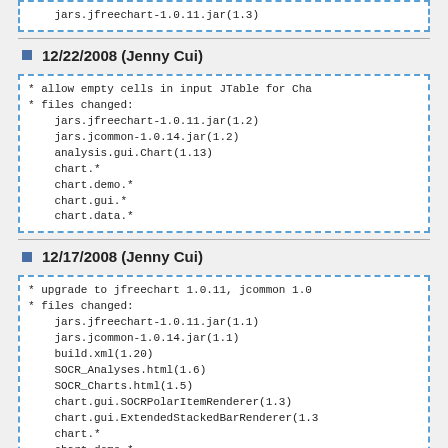jars.jfreechart-1.0.11.jar(1.3)
12/22/2008 (Jenny Cui)
* allow empty cells in input JTable for Cha
* files changed:
    jars.jfreechart-1.0.11.jar(1.2)
    jars.jcommon-1.0.14.jar(1.2)
    analysis.gui.Chart(1.13)
    chart.*
    chart.demo.*
    chart.gui.*
    chart.data.*
12/17/2008 (Jenny Cui)
* upgrade to jfreechart 1.0.11, jcommon 1.0
* files changed:
    jars.jfreechart-1.0.11.jar(1.1)
    jars.jcommon-1.0.14.jar(1.1)
    build.xml(1.20)
    SOCR_Analyses.html(1.6)
    SOCR_Charts.html(1.5)
    chart.gui.SOCRPolarItemRenderer(1.3)
    chart.gui.ExtendedStackedBarRenderer(1.3
    chart.*
    chart.demo.*
    application.demo.*
12/11/2008 (Jenny Cui)